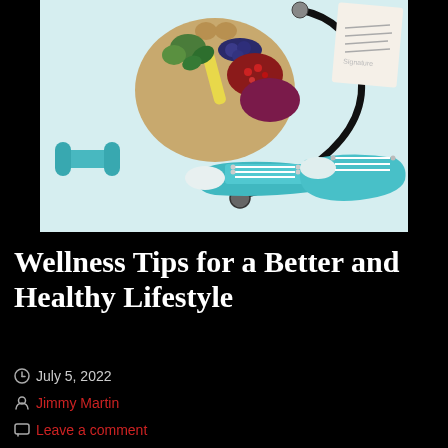[Figure (photo): Overhead photo of health and wellness items: a heart-shaped wooden bowl filled with colorful fruits and vegetables, a stethoscope, a teal dumbbell, teal sneakers with white laces, and a medical document on a white surface.]
Wellness Tips for a Better and Healthy Lifestyle
July 5, 2022
Jimmy Martin
Leave a comment